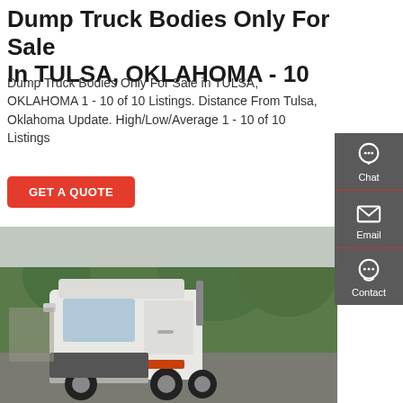Dump Truck Bodies Only For Sale In TULSA, OKLAHOMA - 10
Dump Truck Bodies Only For Sale in TULSA, OKLAHOMA 1 - 10 of 10 Listings. Distance From Tulsa, Oklahoma Update. High/Low/Average 1 - 10 of 10 Listings
GET A QUOTE
[Figure (photo): White semi truck cab (tractor unit) parked outdoors with trees in the background]
[Figure (infographic): Sidebar with Chat, Email, and Contact icons on dark grey background]